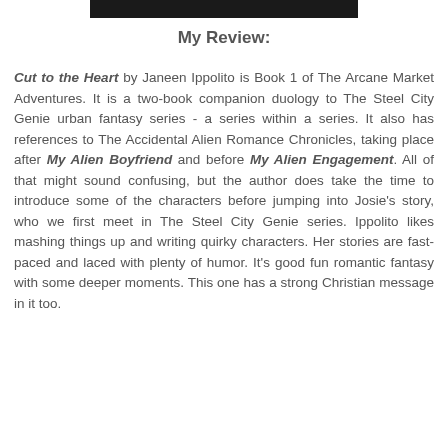[Figure (other): Dark banner image at top of page]
My Review:
Cut to the Heart by Janeen Ippolito is Book 1 of The Arcane Market Adventures. It is a two-book companion duology to The Steel City Genie urban fantasy series - a series within a series. It also has references to The Accidental Alien Romance Chronicles, taking place after My Alien Boyfriend and before My Alien Engagement. All of that might sound confusing, but the author does take the time to introduce some of the characters before jumping into Josie's story, who we first meet in The Steel City Genie series. Ippolito likes mashing things up and writing quirky characters. Her stories are fast-paced and laced with plenty of humor. It's good fun romantic fantasy with some deeper moments. This one has a strong Christian message in it too.